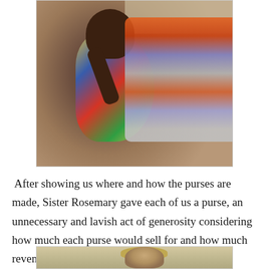[Figure (photo): A woman in colorful African print dress holding/examining a beaded purse, surrounded by handmade purses and bags in a workshop setting.]
After showing us where and how the purses are made, Sister Rosemary gave each of us a purse, an unnecessary and lavish act of generosity considering how much each purse would sell for and how much revenue that would bring to the school.
[Figure (photo): Partial photo of a person with light/blonde hair, visible from approximately the shoulders up, against a light-colored background. Only the top portion is visible.]